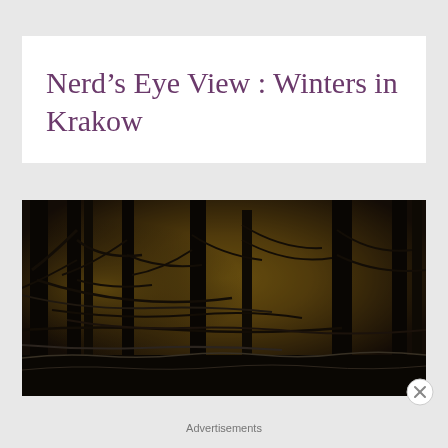Nerd’s Eye View : Winters in Krakow
[Figure (photo): Dark winter forest scene with bare snow-dusted tree branches against a warm amber/golden background light, moody and atmospheric]
Advertisements